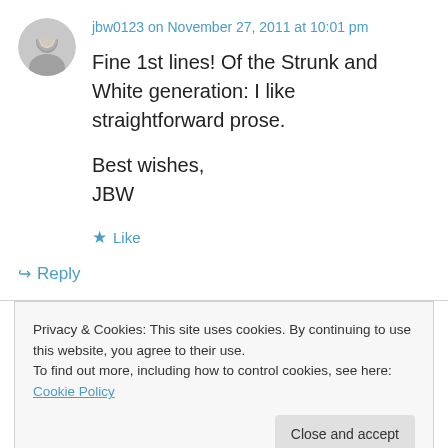[Figure (photo): Circular avatar photo of a person with gray/white hair]
jbw0123 on November 27, 2011 at 10:01 pm
Fine 1st lines! Of the Strunk and White generation: I like straightforward prose.

Best wishes,
JBW
★ Like
↳ Reply
Privacy & Cookies: This site uses cookies. By continuing to use this website, you agree to their use.
To find out more, including how to control cookies, see here: Cookie Policy
Close and accept
writing, get a degree you're really going to